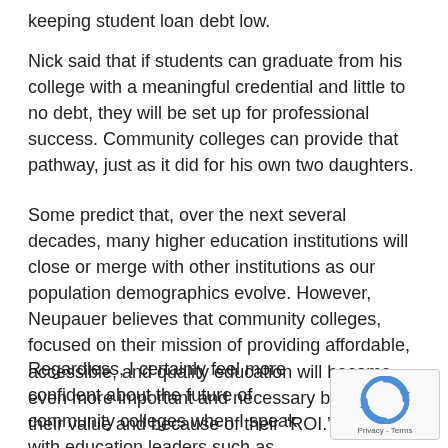keeping student loan debt low.
Nick said that if students can graduate from his college with a meaningful credential and little to no debt, they will be set up for professional success. Community colleges can provide that pathway, just as it did for his own two daughters.
Some predict that, over the next several decades, many higher education institutions will close or merge with other institutions as our population demographics evolve. However, Neupauer believes that community colleges, focused on their mission of providing affordable, accessible, and quality education will become even more important and necessary because of their value and because of their “ROI.”
Regardless, I certainly feel more confident about the future of community colleges when I speak with education leaders such as Neupauer who care so about students and the communities we live in.
[Figure (logo): reCAPTCHA badge with spinning arrows logo and Privacy - Terms text]